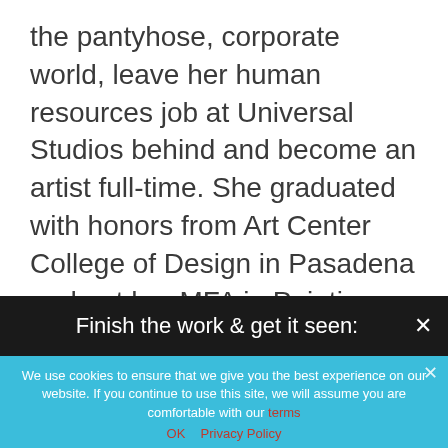the pantyhose, corporate world, leave her human resources job at Universal Studios behind and become an artist full-time. She graduated with honors from Art Center College of Design in Pasadena and got her MFA in Painting from the University of Pennsylvania in Philadelphia.
Her commercial clients include Blue Q, Fringe Studio, Mincing Mockingbird, Chronicle Books,
Finish the work & get it seen: ×
We use cookies to ensure that we give you the best experience on our website. If you continue to use this site, we will assume you are comfortable with our terms
OK  Privacy Policy